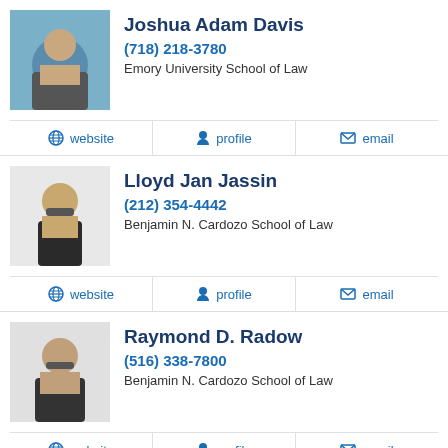[Figure (photo): Headshot of Joshua Adam Davis]
Joshua Adam Davis
(718) 218-3780
Emory University School of Law
website | profile | email
[Figure (photo): Headshot of Lloyd Jan Jassin]
Lloyd Jan Jassin
(212) 354-4442
Benjamin N. Cardozo School of Law
website | profile | email
[Figure (photo): Headshot of Raymond D. Radow]
Raymond D. Radow
(516) 338-7800
Benjamin N. Cardozo School of Law
website | profile | email